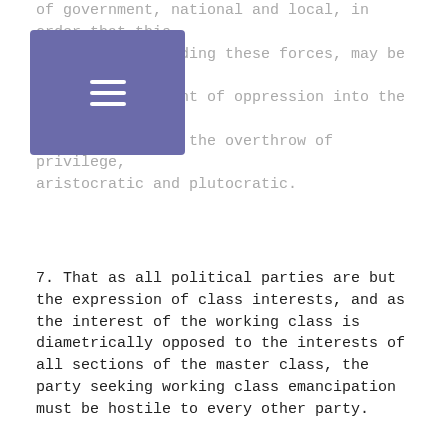of government, national and local, in order that this machinery, including these forces, may be converted from an instrument of oppression into the agent of emancipation and the overthrow of privilege, aristocratic and plutocratic.
7. That as all political parties are but the expression of class interests, and as the interest of the working class is diametrically opposed to the interests of all sections of the master class, the party seeking working class emancipation must be hostile to every other party.
8. The Socialist Party of Great Britain, therefore, enters the field of political action determined to wage war against all other political parties, whether alleged labour or avowedly capitalist, and calls upon the members of the working class of this country to muster under its banner to the end that a speedy termination may be wrought to the system which deprives them of